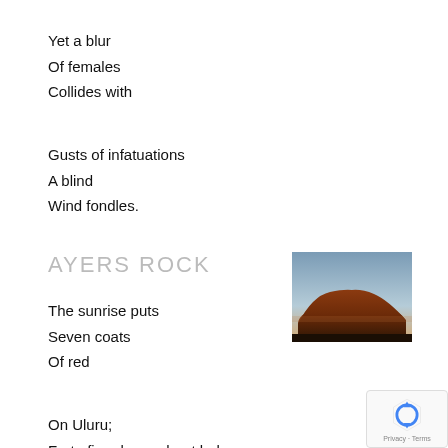Yet a blur
Of females
Collides with

Gusts of infatuations
A blind
Wind fondles.
AYERS ROCK
[Figure (photo): Photograph of Ayers Rock (Uluru) at sunrise or sunset, showing the large sandstone formation silhouetted against a blue-grey sky with reddish-orange coloring on the rock.]
The sunrise puts
Seven coats
Of red

On Uluru;
Forty-five-degree heat bakes
The clay-like paint.